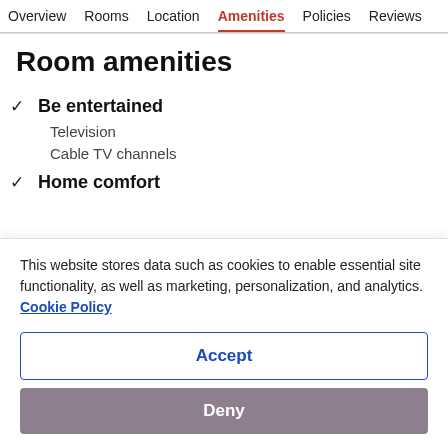Overview  Rooms  Location  Amenities  Policies  Reviews
Room amenities
✓ Be entertained
Television
Cable TV channels
✓ Home comfort
This website stores data such as cookies to enable essential site functionality, as well as marketing, personalization, and analytics. Cookie Policy
Accept
Deny